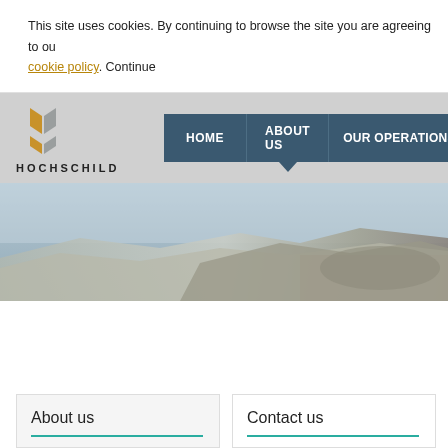This site uses cookies. By continuing to browse the site you are agreeing to our cookie policy. Continue
[Figure (logo): Hochschild Mining logo — stylized H icon in gold/grey with text HOCHSCHILD below]
HOME | ABOUT US | OUR OPERATIONS
[Figure (photo): Panoramic landscape photo of a mine or quarry with rocky terrain and dusty ground]
About us
Contact us